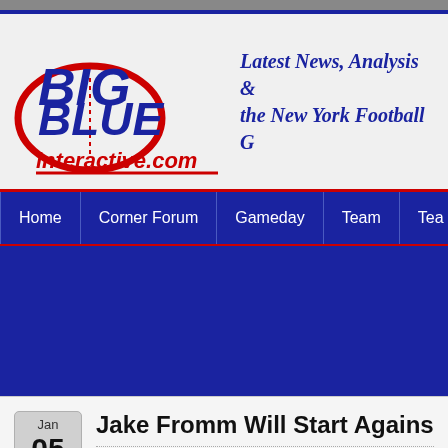[Figure (logo): Big Blue Interactive logo with football graphic and site name bigblueinteractive.com]
Latest News, Analysis & the New York Football G
Home | Corner Forum | Gameday | Team | Tea
Jake Fromm Will Start Against Was
Posted by Eric Kennedy